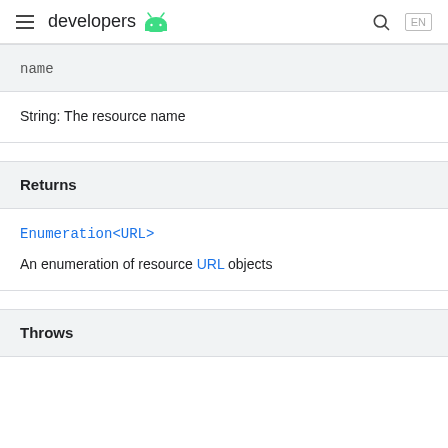developers (Android logo)
name
String: The resource name
Returns
Enumeration<URL>
An enumeration of resource URL objects
Throws